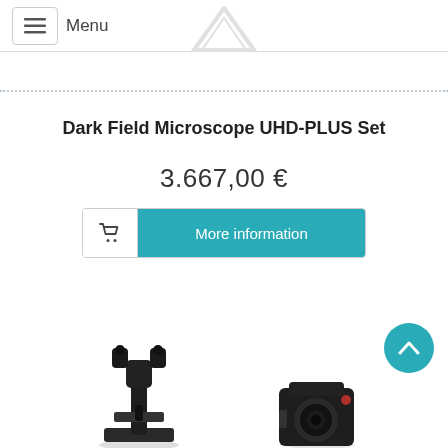Menu
Dark Field Microscope UHD-PLUS Set
3.667,00 €
More information
[Figure (photo): Product images of dark field microscope components at bottom of page]